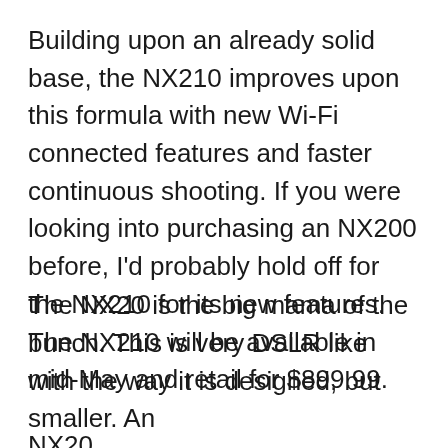Building upon an already solid base, the NX210 improves upon this formula with new Wi-Fi connected features and faster continuous shooting. If you were looking into purchasing an NX200 before, I'd probably hold off for the NX210 for its new features. The NX210 will be available in mid-May and retail for $899.99.
NX20
The NX20 is the big mama of the bunch. This is very DSLR like with the way it is designed, but smaller. An